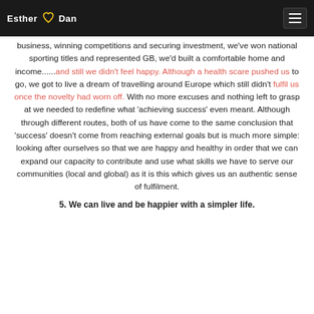Esther [heart] Dan
business, winning competitions and securing investment, we've won national sporting titles and represented GB, we'd built a comfortable home and income......and still we didn't feel happy. Although a health scare pushed us to go, we got to live a dream of travelling around Europe which still didn't fulfil us once the novelty had worn off. With no more excuses and nothing left to grasp at we needed to redefine what 'achieving success' even meant. Although through different routes, both of us have come to the same conclusion that 'success' doesn't come from reaching external goals but is much more simple: looking after ourselves so that we are happy and healthy in order that we can expand our capacity to contribute and use what skills we have to serve our communities (local and global) as it is this which gives us an authentic sense of fulfilment.
5. We can live and be happier with a simpler life.